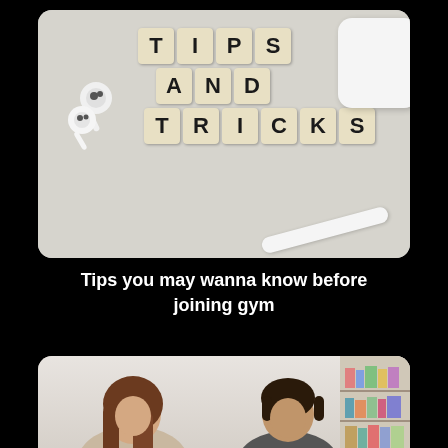[Figure (photo): Photo of scrabble tiles spelling TIPS AND TRICKS on a light gray/beige surface, with AirPods and case, and a white pencil or stylus]
Tips you may wanna know before joining gym
[Figure (photo): Partial photo of two people (a woman with brown hair on the left, a man with dark hair on the right) sitting, with a bookshelf visible on the right side]